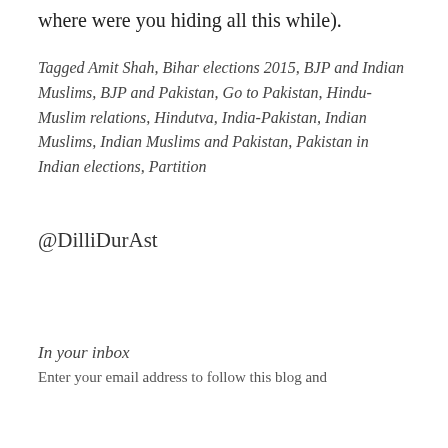where were you hiding all this while).
Tagged Amit Shah, Bihar elections 2015, BJP and Indian Muslims, BJP and Pakistan, Go to Pakistan, Hindu-Muslim relations, Hindutva, India-Pakistan, Indian Muslims, Indian Muslims and Pakistan, Pakistan in Indian elections, Partition
@DilliDurAst
In your inbox
Enter your email address to follow this blog and